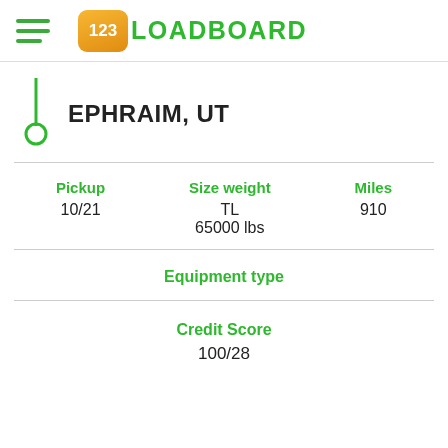123LOADBOARD
EPHRAIM, UT
Pickup 10/21
Size weight TL 65000 lbs
Miles 910
Equipment type
Credit Score 100/28